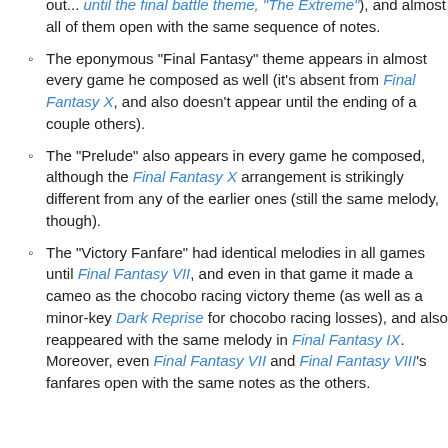out... until the final battle theme, "The Extreme"), and almost all of them open with the same sequence of notes.
The eponymous "Final Fantasy" theme appears in almost every game he composed as well (it's absent from Final Fantasy X, and also doesn't appear until the ending of a couple others).
The "Prelude" also appears in every game he composed, although the Final Fantasy X arrangement is strikingly different from any of the earlier ones (still the same melody, though).
The "Victory Fanfare" had identical melodies in all games until Final Fantasy VII, and even in that game it made a cameo as the chocobo racing victory theme (as well as a minor-key Dark Reprise for chocobo racing losses), and also reappeared with the same melody in Final Fantasy IX. Moreover, even Final Fantasy VII and Final Fantasy VIII's fanfares open with the same notes as the others.